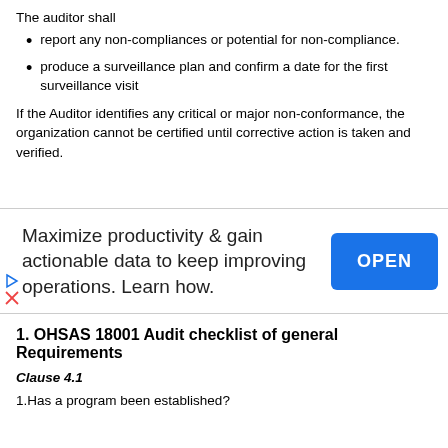The auditor shall
report any non-compliances or potential for non-compliance.
produce a surveillance plan and confirm a date for the first surveillance visit
If the Auditor identifies any critical or major non-conformance, the organization cannot be certified until corrective action is taken and verified.
[Figure (other): Advertisement banner: Maximize productivity & gain actionable data to keep improving operations. Learn how. OPEN button.]
1. OHSAS 18001 Audit checklist of general Requirements
Clause 4.1
1.Has a program been established?